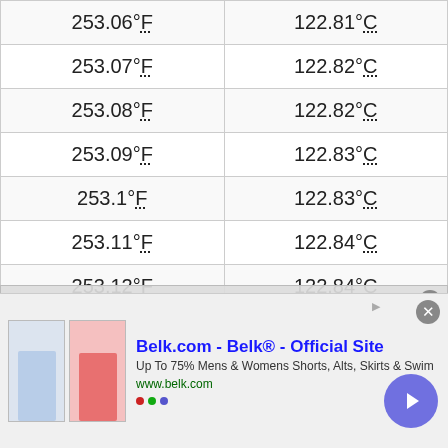| °F | °C |
| --- | --- |
| 253.06°F | 122.81°C |
| 253.07°F | 122.82°C |
| 253.08°F | 122.82°C |
| 253.09°F | 122.83°C |
| 253.1°F | 122.83°C |
| 253.11°F | 122.84°C |
| 253.12°F | 122.84°C |
| 253.13°F | 122.85°C |
| 253.14°F | 122.86°C |
[Figure (screenshot): Video popup overlay: 'How to Convert From Fahrenheit to C...' with close button and 'No compatible source was found for this media' message]
[Figure (screenshot): Advertisement banner: Belk.com - Belk® - Official Site. Up To 75% Mens & Womens Shorts, Alts, Skirts & Swim. www.belk.com. Shows skirt images and navigation arrow.]